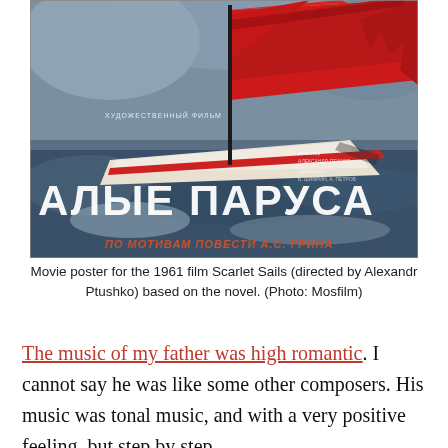[Figure (illustration): Movie poster for the 1961 Soviet film 'Scarlet Sails' (Алые Паруса). Shows a sailing ship with large red sails against a stormy blue-grey sea and sky. Russian text reads 'АЛЫЕ ПАРУСА' (Scarlet Sails) in large white letters, with smaller text 'ХУДОЖЕСТВЕННЫЙ ФИЛЬМ' and 'ПО МОТИВАМ ПОВЕСТИ А.С. ГРИНА'.]
Movie poster for the 1961 film Scarlet Sails (directed by Alexandr Ptushko) based on the novel. (Photo: Mosfilm)
The music of my father was high romantic. I cannot say he was like some other composers. His music was tonal music, and with a very positive feeling, but step by step,